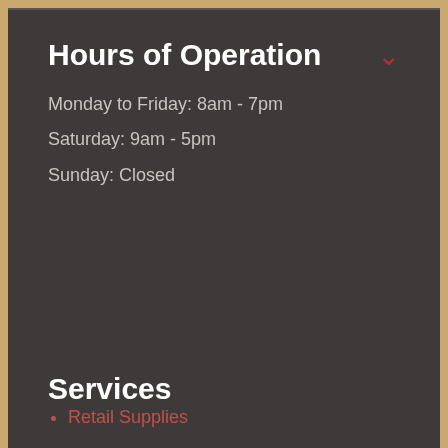Hours of Operation
Monday to Friday: 8am - 7pm
Saturday: 9am - 5pm
Sunday: Closed
Services
Retail Supplies
Mailbox Rentals